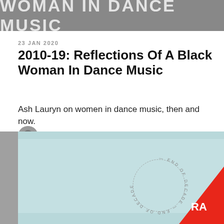[Figure (illustration): Gray banner header with large bold white text reading 'WOMAN IN DANCE MUSIC' in uppercase, partially cropped at top]
23 JAN 2020
2010-19: Reflections Of A Black Woman In Dance Music
Ash Lauryn on women in dance music, then and now.
Ashleigh Lauryn
[Figure (illustration): Light blue and gray geometric artwork with circular 'END OF DECADE' watermark stamp text and a red triangle in the bottom-right corner containing the Resident Advisor (RA) logo]